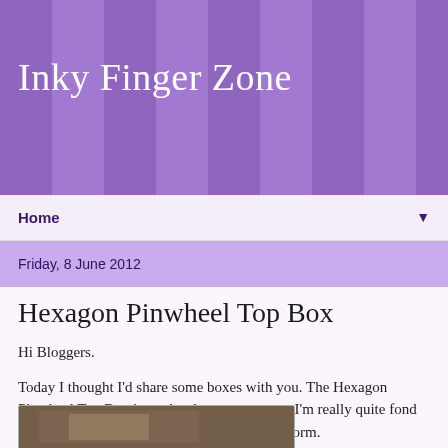Inky Finger Zone
Home
Friday, 8 June 2012
Hexagon Pinwheel Top Box
Hi Bloggers.
Today I thought I'd share some boxes with you. The Hexagon Pinwheel Top Box is on the shows tomorrow. I'm really quite fond of this box as it needs no glue in its simplest form.
When it comes out of the Grand Calibur, having been cut and then embossed, you just need to fold along all the embossed lines.
[Figure (photo): Partial view of a photo showing a craft box at the bottom of the page]